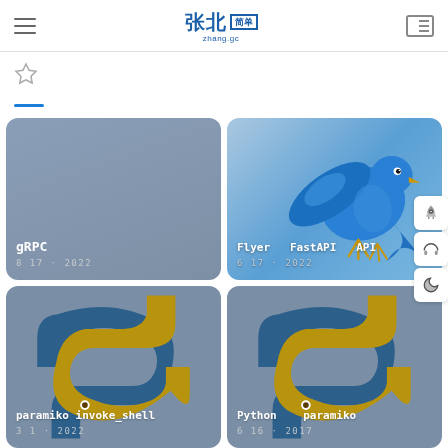zhang.gc blog header with hamburger menu, Chinese logo (张北/简单), and layout icon
[Figure (screenshot): Star/bookmark icon in header sub-row]
[Figure (screenshot): Blue underline tab indicator]
[Figure (screenshot): Card: gRPC, date 8 17 · 2022, grey background]
[Figure (photo): Card: Flyer FastAPI API, date 6 17 · 2022, blue bird illustration]
[Figure (screenshot): Card: paramiko invoke_shell, date 3 1 · 2022, Python logo]
[Figure (screenshot): Card: Python paramiko, date 6 16 · 2017, Python logo]
[Figure (screenshot): Side buttons: rocket, headphones, moon icons]